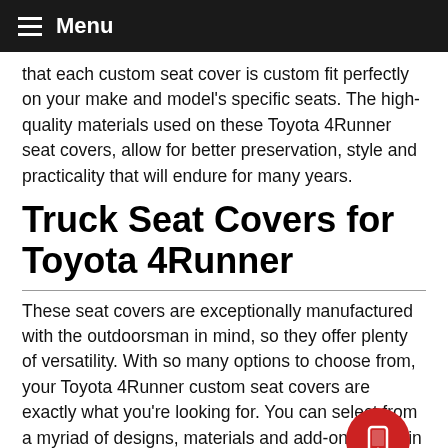Menu
that each custom seat cover is custom fit perfectly on your make and model's specific seats. The high-quality materials used on these Toyota 4Runner seat covers, allow for better preservation, style and practicality that will endure for many years.
Truck Seat Covers for Toyota 4Runner
These seat covers are exceptionally manufactured with the outdoorsman in mind, so they offer plenty of versatility. With so many options to choose from, your Toyota 4Runner custom seat covers are exactly what you're looking for. You can select from a myriad of designs, materials and add-ons to fall in line with your